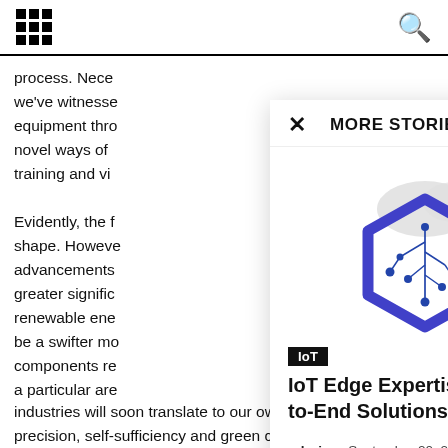[grid icon] MORE STORIES [search icon]
process. Nece...
we've witnesse...
equipment thro...
novel ways of ...
training and vi...

Evidently, the f...
shape. Howeve...
advancements ...
greater signific...
renewable ene...
be a swifter mo...
components re...
a particular are...
limitations curr..., the pace of advancement seen in other industries will soon translate to our own, bringing enhanced precision, self-sufficiency and green credentials.
✕   MORE STORIES
[Figure (illustration): Illustration showing a hexagon with an IoT circuit/network diagram inside it, with cloud shapes in the background and a person in a suit leaning against the right side.]
IoT
IoT Edge Expertise to Provide End-to-End Solutions
admin - September 20, 2021   0